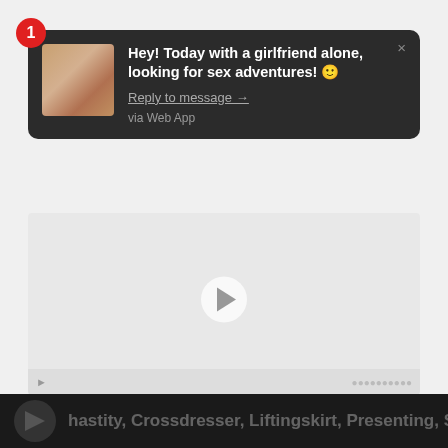[Figure (screenshot): Push notification overlay with dark rounded rectangle background. Contains avatar image of blonde woman, bold white text message, underlined reply link, and 'via Web App' source text. Red badge with number 1 in top-left corner. Close X button top-right.]
Hey! Today with a girlfriend alone, looking for sex adventures! 🙂
Reply to message →
via Web App
[Figure (screenshot): Blurred/placeholder video player area with light gray background, centered play button circle, and video control bar at bottom.]
hastity, Crossdresser, Liftingskirt, Presenting, Shavedcock, Sissy